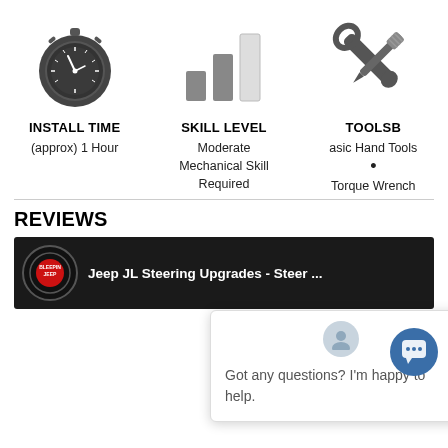[Figure (illustration): Stopwatch icon in dark gray]
INSTALL TIME
(approx) 1 Hour
[Figure (illustration): Bar chart skill level icon with three bars (small, medium, tall/white)]
SKILL LEVEL
Moderate Mechanical Skill Required
[Figure (illustration): Crossed wrench and screwdriver tools icon in dark gray]
TOOLSB
asic Hand Tools
•
Torque Wrench
REVIEWS
[Figure (screenshot): Video thumbnail showing Jeep JL Steering Upgrades - Steer ... with BleepinJeep logo]
[Figure (illustration): Chat widget overlay with avatar, close button, and message: Got any questions? I'm happy to help.]
Got any questions? I'm happy to help.